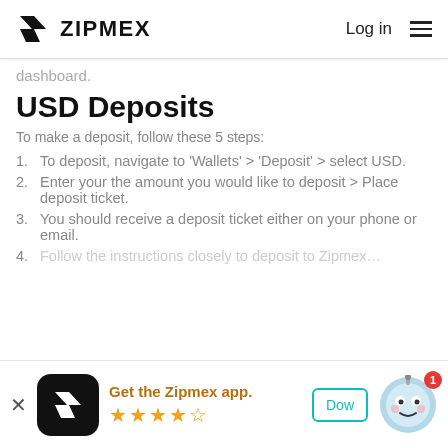ZIPMEX  Log in
dashboard.
USD Deposits
To make a deposit, follow these 5 steps:
To deposit, navigate to 'Wallets' > 'Deposit' > select USD.
Enter your the amount you would like to deposit > Place deposit ticket.
You should receive a deposit ticket either on your phone or email.
Follow the instructions closely to deposit to Zipmex...
[Figure (infographic): App download banner: Zipmex app icon, 'Get the Zipmex app.' text with 4.5 star rating, Download button, robot mascot with notification badge showing 1]
Get the Zipmex app.